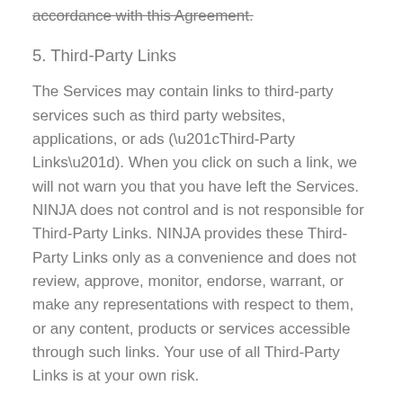accordance with this Agreement.
5. Third-Party Links
The Services may contain links to third-party services such as third party websites, applications, or ads (“Third-Party Links”). When you click on such a link, we will not warn you that you have left the Services. NINJA does not control and is not responsible for Third-Party Links. NINJA provides these Third-Party Links only as a convenience and does not review, approve, monitor, endorse, warrant, or make any representations with respect to them, or any content, products or services accessible through such links. Your use of all Third-Party Links is at your own risk.
6. Termination
At its sole discretion, NINJA may modify or